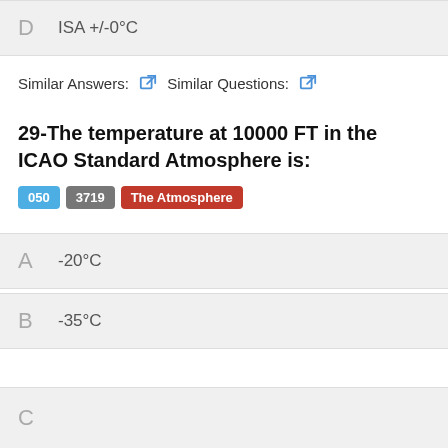D  ISA +/-0°C
Similar Answers: [icon] Similar Questions: [icon]
29-The temperature at 10000 FT in the ICAO Standard Atmosphere is:
050  3719  The Atmosphere
A  -20°C
B  -35°C
C  ...